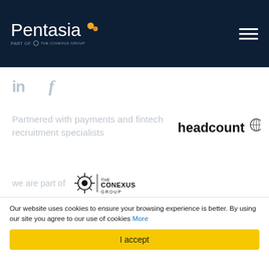Pentasia — part of The Conexus Group
[Figure (logo): LinkedIn and Facebook social media icons in grey]
Partnered with payments and fintech recruitment specialists
[Figure (logo): headcount globe logo]
we are part of THE CONEXUS GROUP
© 2019 Pentasia    VAT number 814476719 | Reg number 4327821   |   Privacy Policy   |   Legal Terms   |
Our website uses cookies to ensure your browsing experience is better. By using our site you agree to our use of cookies More
I accept